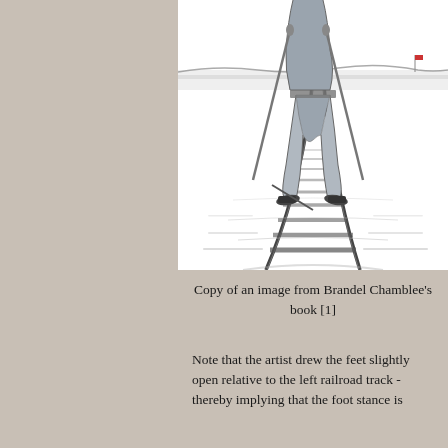[Figure (illustration): A black and white sketch illustration of a person (lower body visible) standing on railroad tracks, viewed from slightly above and behind. The figure stands between two converging rail tracks with cross ties visible. A distant landscape with water and a small flag is visible in the background.]
Copy of an image from Brandel Chamblee's book [1]
Note that the artist drew the feet slightly open relative to the left railroad track - thereby implying that the foot stance is